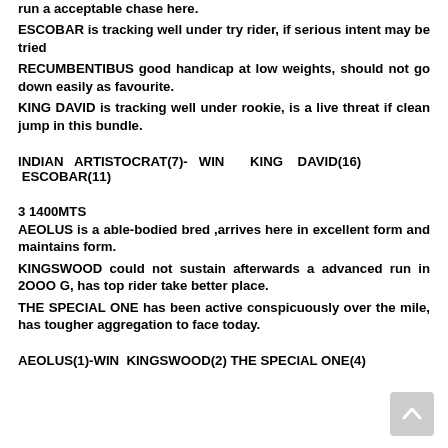run a acceptable chase here.
ESCOBAR is tracking well under try rider, if serious intent may be tried
RECUMBENTIBUS good handicap at low weights, should not go down easily as favourite.
KING DAVID is tracking well under rookie, is a live threat if clean jump in this bundle.
INDIAN ARTISTOCRAT(7)- WIN KING DAVID(16) ESCOBAR(11)
3 1400MTS
AEOLUS is a able-bodied bred ,arrives here in excellent form and maintains form.
KINGSWOOD could not sustain afterwards a advanced run in 2OOO G, has top rider take better place.
THE SPECIAL ONE has been active conspicuously over the mile, has tougher aggregation to face today.
AEOLUS(1)-WIN KINGSWOOD(2) THE SPECIAL ONE(4)